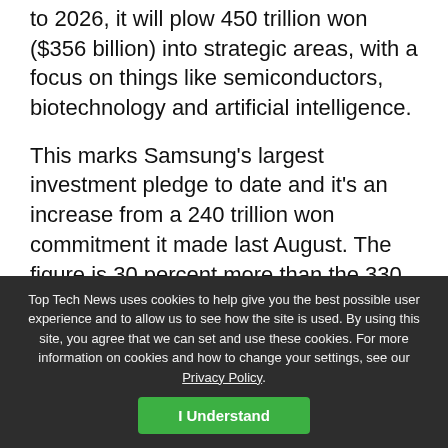to 2026, it will plow 450 trillion won ($356 billion) into strategic areas, with a focus on things like semiconductors, biotechnology and artificial intelligence.
This marks Samsung’s largest investment pledge to date and it’s an increase from a 240 trillion won commitment it made last August. The figure is 30 percent more than the 330 trillion won the company invested in itself over the previous five-year period.
The Samsung Electronics division will use the funding to bolster its chip design and manufacturing process, according to The Korea Herald. The company is preparing
Top Tech News uses cookies to help give you the best possible user experience and to allow us to see how the site is used. By using this site, you agree that we can set and use these cookies. For more information on cookies and how to change your settings, see our Privacy Policy.
I Understand